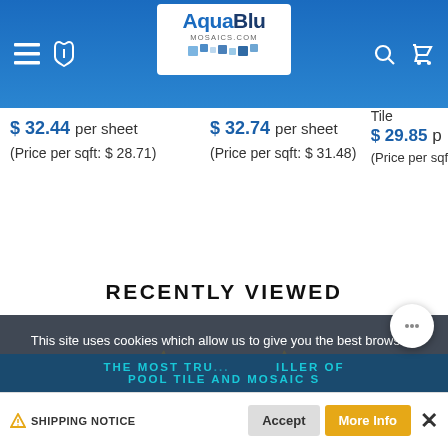AquaBlu MOSAICS.COM
$ 32.44 per sheet (Price per sqft: $ 28.71)
$ 32.74 per sheet (Price per sqft: $ 31.48)
Tile
$ 29.85 p
(Price per sqf
RECENTLY VIEWED
This site uses cookies which allow us to give you the best browsing experience possible. Cookies are files stored in your browser and are used by most websites to help personalize your web experience. By continuing to use our website without changing settings, you are agreeing to our use of cookies. To find out more, please visit our Privacy Policy
4,000+ 5 - STAR RATINGS
THE MOST TRU... ILLER OF POOL TILE AND MOSAIC S
▲ SHIPPING NOTICE  Accept  More Info  ×